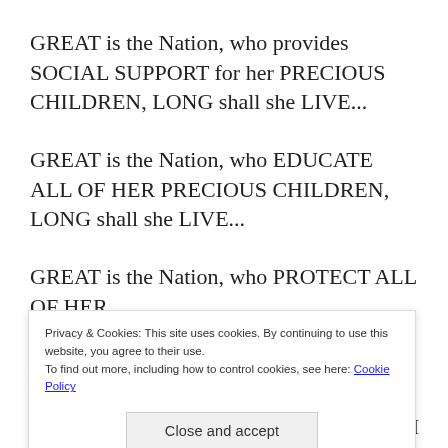GREAT is the Nation, who provides SOCIAL SUPPORT for her PRECIOUS CHILDREN, LONG shall she LIVE...
GREAT is the Nation, who EDUCATE ALL OF HER PRECIOUS CHILDREN, LONG shall she LIVE...
GREAT is the Nation, who PROTECT ALL OF HER PRECIOUS CHILDREN from ALL FORMS of...
Privacy & Cookies: This site uses cookies. By continuing to use this website, you agree to their use. To find out more, including how to control cookies, see here: Cookie Policy
Close and accept
TRADITIONAL and CULTURAL PRACTICES,